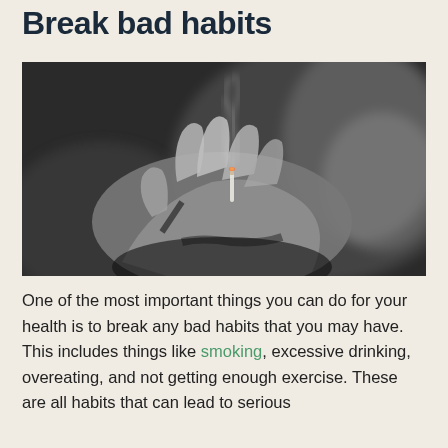Break bad habits
[Figure (photo): Black and white close-up photograph of hands holding a lit cigarette with smoke rising, with blurred background]
One of the most important things you can do for your health is to break any bad habits that you may have. This includes things like smoking, excessive drinking, overeating, and not getting enough exercise. These are all habits that can lead to serious